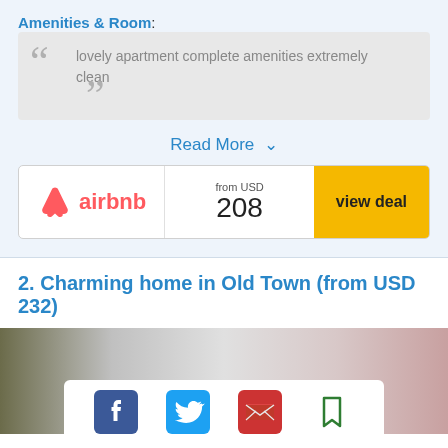Amenities & Room:
lovely apartment complete amenities extremely clean
Read More ∨
[Figure (logo): Airbnb logo with price 'from USD 208' and 'view deal' yellow button]
2. Charming home in Old Town (from USD 232)
[Figure (photo): Blurred property photo with social sharing bar at bottom showing Facebook, Twitter, email, and bookmark icons]